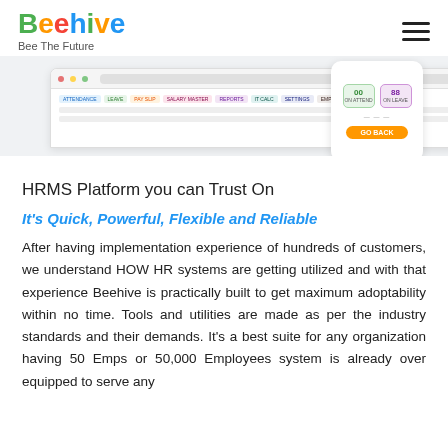Beehive — Bee The Future
[Figure (screenshot): Screenshot of Beehive HRMS platform interface showing a dashboard/table view with navigation tabs, alongside a mobile card showing green and purple badges and an orange button]
HRMS Platform you can Trust On
It's Quick, Powerful, Flexible and Reliable
After having implementation experience of hundreds of customers, we understand HOW HR systems are getting utilized and with that experience Beehive is practically built to get maximum adoptability within no time. Tools and utilities are made as per the industry standards and their demands. It's a best suite for any organization having 50 Emps or 50,000 Employees system is already over equipped to serve any